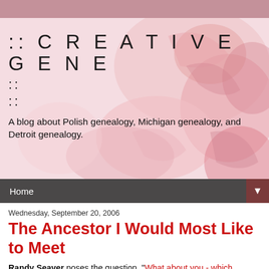[Figure (illustration): Pink/mauve top bar decorative stripe]
[Figure (photo): Blog header area with floral watercolor background image in pinks and reds. Contains site title ':: C R E A T I V E G E N E' with decorative colons below and tagline text.]
:: C R E A T I V E G E N E
A blog about Polish genealogy, Michigan genealogy, and Detroit genealogy.
Home
Wednesday, September 20, 2006
The Ancestor I Would Most Like to Meet
Randy Seaver poses the question, "What about you - which ancestor would you like to meet, and why?" on his blog, Genea-Musings. It only took a couple of minutes for me to